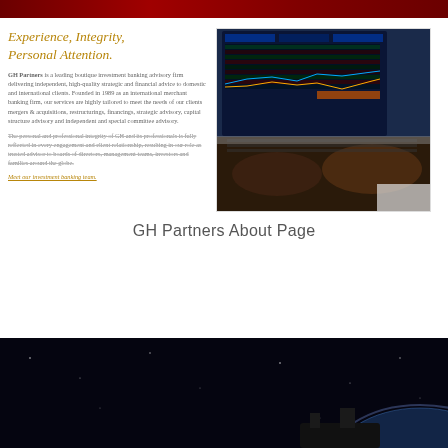Experience, Integrity, Personal Attention.
GH Partners is a leading boutique investment banking advisory firm delivering independent, high-quality strategic and financial advice to domestic and international clients. Founded in 1989 as an international merchant banking firm, our services are highly tailored to meet the needs of our clients mergers & acquisitions, restructurings, financings, strategic advisory, capital structure advisory and independent and special committee advisory.
The personal and professional integrity of GH and its professionals is fully reflected in every engagement and client relationship, resulting in our role as trusted advisor to boards of directors, management teams, investors and families around the globe.
Meet our investment banking team.
[Figure (photo): Person's hands typing on a laptop showing financial trading charts and data on screen]
GH Partners About Page
[Figure (photo): Dark space/satellite image at bottom of page]